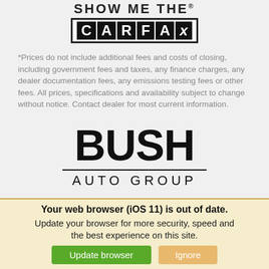[Figure (logo): Show Me The CARFAX logo with CARFAX text in black boxes]
*Prices do not include additional fees and costs of closing, including government fees and taxes, any finance charges, any dealer documentation fees, any emissions testing fees or other fees. All prices, specifications and availability subject to change without notice. Contact dealer for most current information.
[Figure (logo): Bush Auto Group logo with large BUSH text and AUTO GROUP below with dividing line]
Your web browser (iOS 11) is out of date. Update your browser for more security, speed and the best experience on this site.
Update browser  Ignore